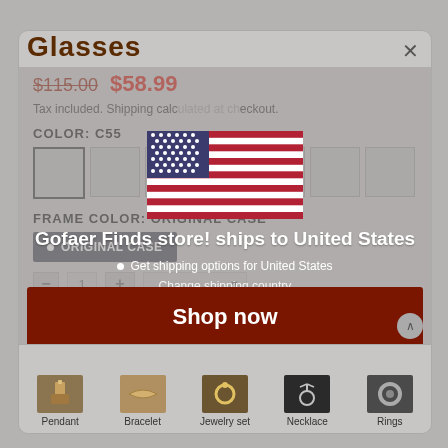Glasses
$115.00  $58.99
Tax included. Shipping calculated at checkout.
COLOR: C55
FRAME COLOR: ORIGINAL CASE
ORIGINAL CASE
[Figure (infographic): US flag overlay popup with text: Gofaer Finds store! ships to United States. Includes bullet point and Get shipping options for United States link.]
Shop now
Change shipping country
Pendant
Bracelet
Jewelry set
Necklace
Rings